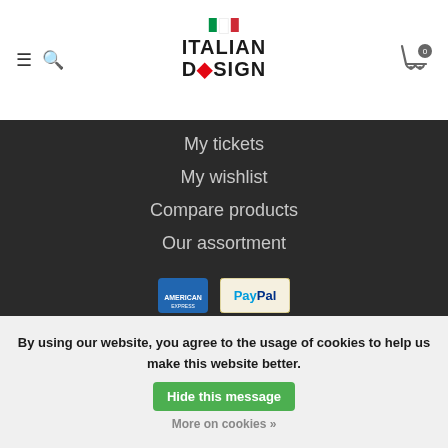Italian Design (logo with navigation icons and cart)
My tickets
My wishlist
Compare products
Our assortment
[Figure (logo): American Express and PayPal payment icons]
© Copyright 2022 Italian Design Fashion & Beauty
By using our website, you agree to the usage of cookies to help us make this website better. Hide this message More on cookies »